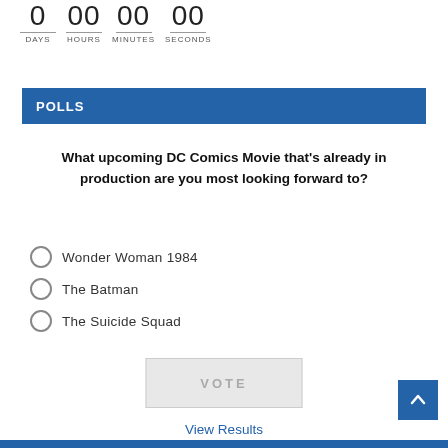[Figure (other): Countdown timer showing 0 DAYS, 00 HOURS, 00 MINUTES, 00 SECONDS]
POLLS
What upcoming DC Comics Movie that's already in production are you most looking forward to?
Wonder Woman 1984
The Batman
The Suicide Squad
[Figure (other): VOTE button (greyed out)]
View Results